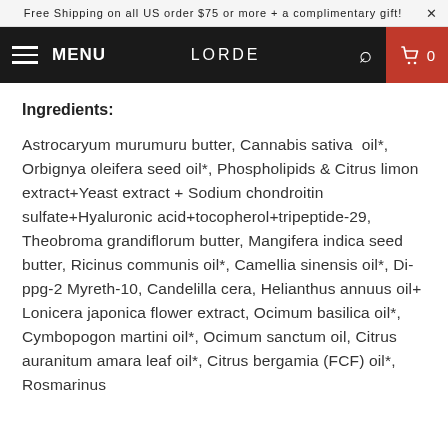Free Shipping on all US order $75 or more + a complimentary gift! ×
MENU  LORDE  0
Ingredients:
Astrocaryum murumuru butter, Cannabis sativa  oil*,  Orbignya oleifera seed oil*, Phospholipids & Citrus limon extract+Yeast extract + Sodium chondroitin sulfate+Hyaluronic acid+tocopherol+tripeptide-29,  Theobroma grandiflorum butter, Mangifera indica seed butter, Ricinus communis oil*, Camellia sinensis oil*, Di-ppg-2 Myreth-10, Candelilla cera, Helianthus annuus oil+ Lonicera japonica flower extract, Ocimum basilica oil*, Cymbopogon martini oil*, Ocimum sanctum oil, Citrus auranitum amara leaf oil*, Citrus bergamia (FCF) oil*, Rosmarinus